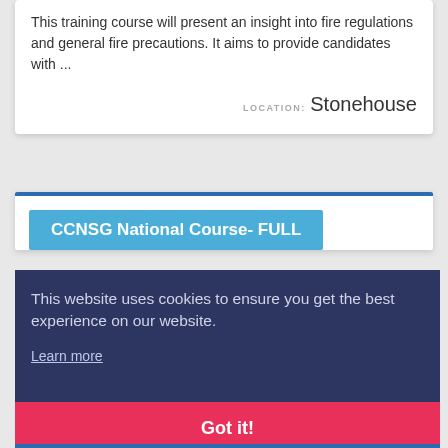This training course will present an insight into fire regulations and general fire precautions. It aims to provide candidates with ...
LOCATION: Stonehouse
CCNSG National Course- FULL
This website uses cookies to ensure you get the best experience on our website.
Learn more
Got it!